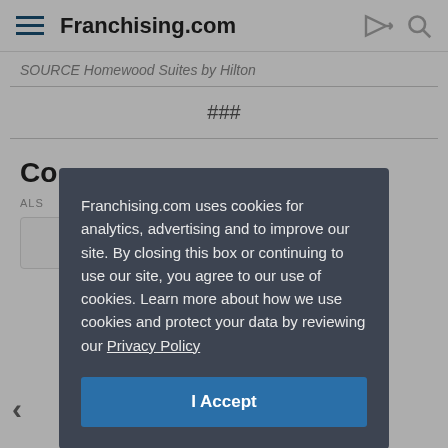Franchising.com
SOURCE Homewood Suites by Hilton
###
Co...
ALS...
[Figure (screenshot): Cookie consent modal overlay on Franchising.com website. Modal text: 'Franchising.com uses cookies for analytics, advertising and to improve our site. By closing this box or continuing to use our site, you agree to our use of cookies. Learn more about how we use cookies and protect your data by reviewing our Privacy Policy' with an 'I Accept' button.]